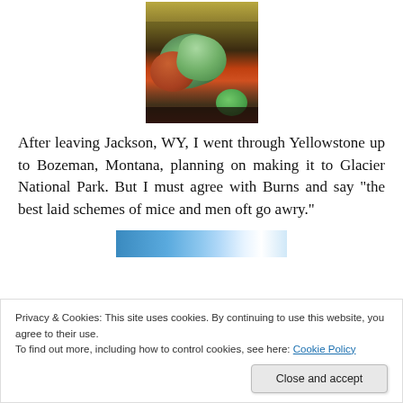[Figure (photo): Close-up photo of colorful mineral rocks or glass objects on a dark surface, with orange and green hues. Golden/yellow background visible at top.]
After leaving Jackson, WY, I went through Yellowstone up to Bozeman, Montana, planning on making it to Glacier National Park. But I must agree with Burns and say “the best laid schemes of mice and men oft go awry.”
[Figure (photo): Partial photo showing blue sky with white clouds.]
Privacy & Cookies: This site uses cookies. By continuing to use this website, you agree to their use.
To find out more, including how to control cookies, see here: Cookie Policy
Yellowstone was phenomenal: I pulled into the Old Faithful